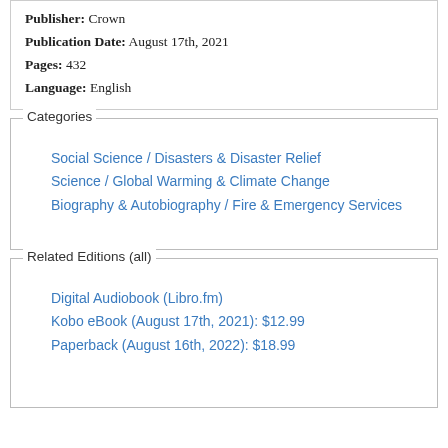Publisher: Crown
Publication Date: August 17th, 2021
Pages: 432
Language: English
Categories
Social Science / Disasters & Disaster Relief
Science / Global Warming & Climate Change
Biography & Autobiography / Fire & Emergency Services
Related Editions (all)
Digital Audiobook (Libro.fm)
Kobo eBook (August 17th, 2021): $12.99
Paperback (August 16th, 2022): $18.99